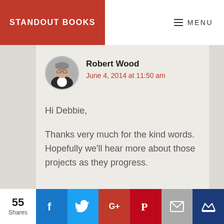STANDOUT BOOKS
MENU
Robert Wood
June 4, 2014 at 11:50 am
Hi Debbie,

Thanks very much for the kind words. Hopefully we'll hear more about those projects as they progress.
55 Shares | Facebook | Twitter | Google+ | Pinterest | Email | Crown